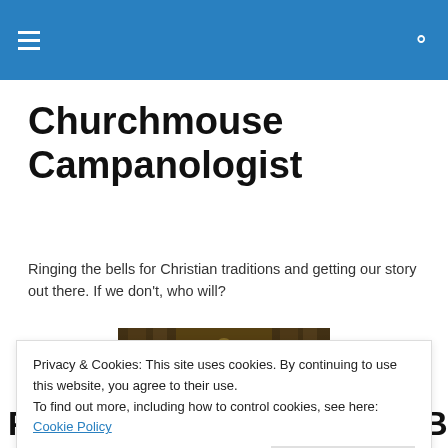[Navigation bar with hamburger menu and search icon]
Churchmouse Campanologist
Ringing the bells for Christian traditions and getting our story out there. If we don't, who will?
[Figure (photo): Interior of an ornate church with golden altar and columns, viewed from below]
Privacy & Cookies: This site uses cookies. By continuing to use this website, you agree to their use. To find out more, including how to control cookies, see here: Cookie Policy
Pentecost Sunday — Year B —